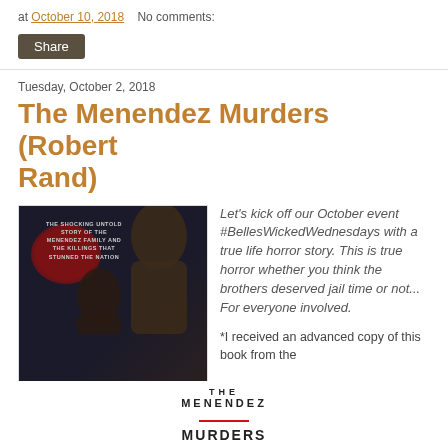at October 10, 2018    No comments:
Share
Tuesday, October 2, 2018
The Menendez Murders (Robert Rand)
[Figure (photo): Book cover of 'The Menendez Murders' showing two men's silhouettes against a dark background with a red splatter, and white lower section with book title]
Let's kick off our October event #BellesWickedWednesdays with a true life horror story. This is true horror whether you think the brothers deserved jail time or not... For everyone involved.

*I received an advanced copy of this book from the